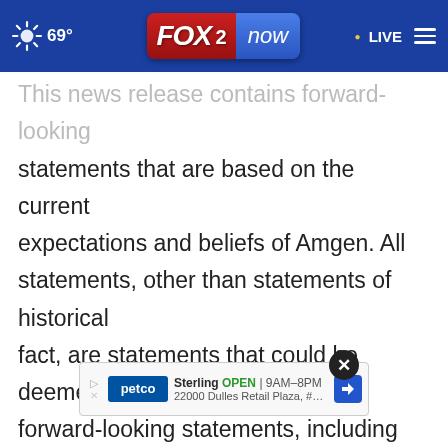69° FOX 2 now · LIVE
This news release contains forward-looking statements that are based on the current expectations and beliefs of Amgen. All statements, other than statements of historical fact, are statements that could be deemed forward-looking statements, including any statements on the outcome, benefits and synergies of collaborations, or potential collaborations, with any other company (including BeiGene, Ltd., Kyowa-Kirin Co., Ltd., or any other company with investigational or therapeutic antibodies against COVID-19), the performance
[Figure (screenshot): Petco advertisement overlay showing Sterling location, OPEN 9AM-8PM, 22000 Dulles Retail Plaza, #110, Sterli...]